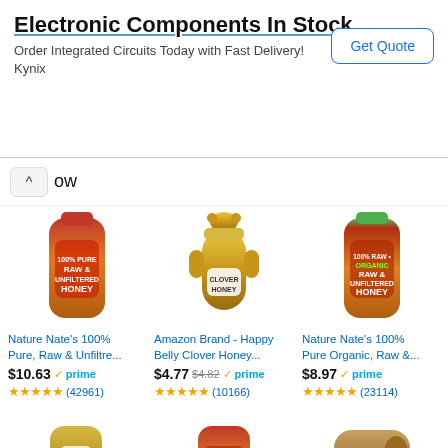[Figure (screenshot): Advertisement banner for Kynix Electronic Components with 'Get Quote' button]
ow
[Figure (photo): Nature Nate's 100% Pure Raw & Unfiltered Honey bottle]
Nature Nate's 100% Pure, Raw & Unfiltered...
$10.63 prime (42961)
[Figure (photo): Amazon Brand - Happy Belly Clover Honey bear-shaped bottle]
Amazon Brand - Happy Belly Clover Honey...
$4.77 $4.82 prime (10166)
[Figure (photo): Nature Nate's 100% Pure Organic, Raw & Unfiltered Honey bottle]
Nature Nate's 100% Pure Organic, Raw &...
$8.97 prime (23114)
[Figure (photo): Bottom row: Clover Honey bottle, Nature Nate's California Raw Honey, and large jug of Pure Honey]
Amazon honey product listing screenshot